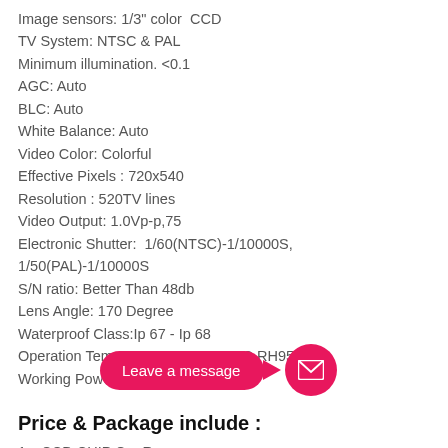Image sensors: 1/3" color  CCD
TV System: NTSC & PAL
Minimum illumination. <0.1
AGC: Auto
BLC: Auto
White Balance: Auto
Video Color: Colorful
Effective Pixels : 720x540
Resolution : 520TV lines
Video Output: 1.0Vp-p,75
Electronic Shutter:  1/60(NTSC)-1/10000S, 1/50(PAL)-1/10000S
S/N ratio: Better Than 48db
Lens Angle: 170 Degree
Waterproof Class:Ip 67 - Ip 68
Operation Temperature: -20°C+80°C RH95%
Working Power (DCV): DC 12V
Price & Package include :
1 x CCD CHIP Car Re[ar Camera]
1 x 6M video cables & [power cable (connected) with the tailight power]
1 x user manual